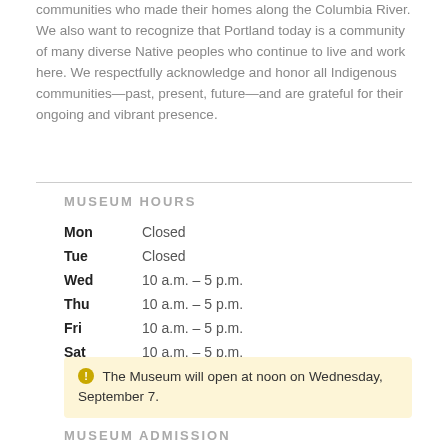communities who made their homes along the Columbia River. We also want to recognize that Portland today is a community of many diverse Native peoples who continue to live and work here. We respectfully acknowledge and honor all Indigenous communities—past, present, future—and are grateful for their ongoing and vibrant presence.
MUSEUM HOURS
| Day | Hours |
| --- | --- |
| Mon | Closed |
| Tue | Closed |
| Wed | 10 a.m. – 5 p.m. |
| Thu | 10 a.m. – 5 p.m. |
| Fri | 10 a.m. – 5 p.m. |
| Sat | 10 a.m. – 5 p.m. |
| Sun | 10 a.m. – 5 p.m. |
The Museum will open at noon on Wednesday, September 7.
MUSEUM ADMISSION